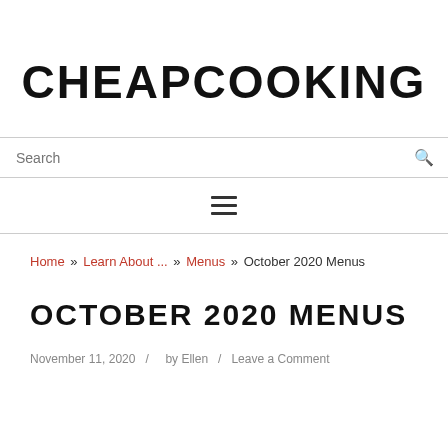CHEAPCOOKING
Search
≡
Home » Learn About ... » Menus » October 2020 Menus
OCTOBER 2020 MENUS
November 11, 2020  /  by Ellen  /  Leave a Comment